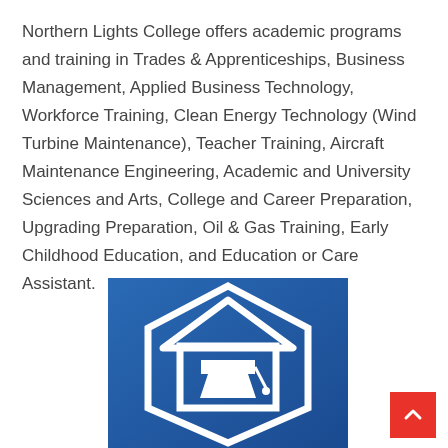Northern Lights College offers academic programs and training in Trades & Apprenticeships, Business Management, Applied Business Technology, Workforce Training, Clean Energy Technology (Wind Turbine Maintenance), Teacher Training, Aircraft Maintenance Engineering, Academic and University Sciences and Arts, College and Career Preparation, Upgrading Preparation, Oil & Gas Training, Early Childhood Education, and Education or Care Assistant.
[Figure (logo): Northern Lights College logo: white house/mortarboard icon on a blue gradient background inside a hexagonal shield shape]